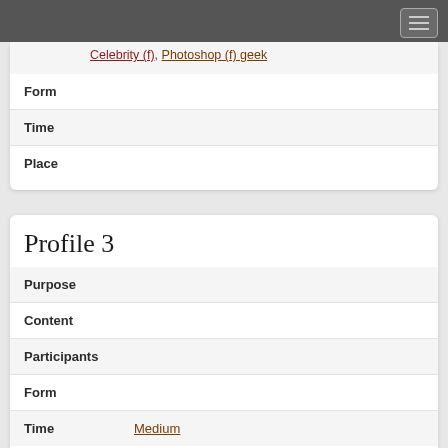| Field | Value |
| --- | --- |
|  | Celebrity (f), Photoshop (f) geek |
| Form |  |
| Time |  |
| Place |  |
Profile 3
| Field | Value |
| --- | --- |
| Purpose |  |
| Content |  |
| Participants |  |
| Form |  |
| Time | Medium |